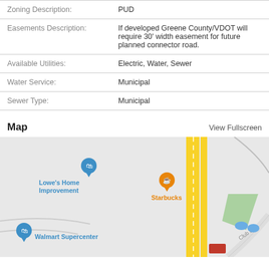| Field | Value |
| --- | --- |
| Zoning Description: | PUD |
| Easements Description: | If developed Greene County/VDOT will require 30' width easement for future planned connector road. |
| Available Utilities: | Electric, Water, Sewer |
| Water Service: | Municipal |
| Sewer Type: | Municipal |
Map
View Fullscreen
[Figure (map): Google map showing area with Lowe's Home Improvement, Starbucks, and Walmart Supercenter locations. Yellow roads visible, green area, blue ponds, Club Dr label.]